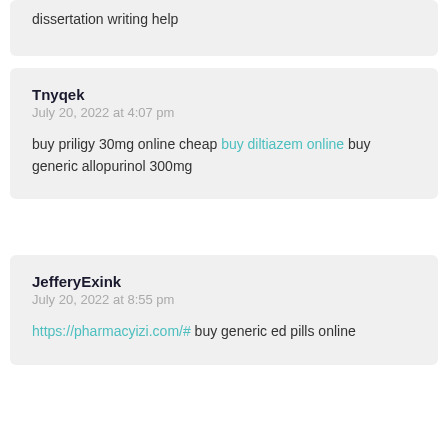dissertation writing help
Tnyqek
July 20, 2022 at 4:07 pm
buy priligy 30mg online cheap buy diltiazem online buy generic allopurinol 300mg
JefferyExink
July 20, 2022 at 8:55 pm
https://pharmacyizi.com/# buy generic ed pills online